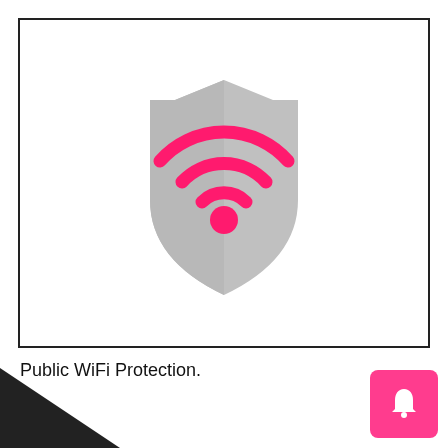[Figure (illustration): A gray shield icon overlaid with a pink/magenta WiFi signal icon (arc waves and dot), representing Public WiFi Protection.]
Public WiFi Protection.